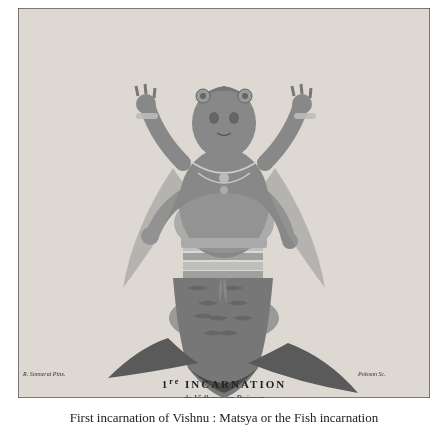[Figure (illustration): An engraving depicting the first incarnation of Vishnu as Matsya (fish). The figure has a human upper body with four arms adorned with jewelry, bracelets, necklaces and ornate garments, and a fish lower body with scales and a large tail fin. Below the image within the frame is the text '1re INCARNATION de Vidheou en Poisson' with engraver credit marks on lower left and right. The image is framed with a border.]
First incarnation of Vishnu : Matsya or the Fish incarnation